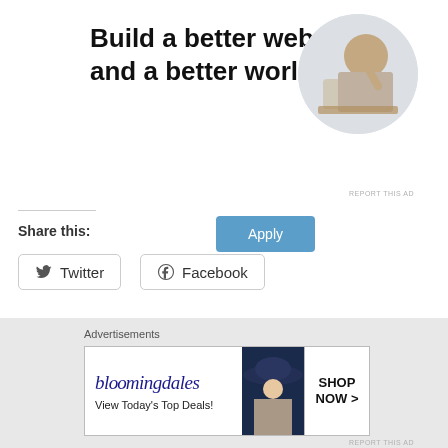[Figure (infographic): Advertisement banner: 'Build a better web and a better world.' with an Apply button and a circular photo of a man thinking at a desk.]
REPORT THIS AD
Share this:
Twitter
Facebook
Loading...
[Figure (infographic): Bloomingdale's advertisement banner: 'bloomingdales View Today's Top Deals! SHOP NOW >' with a woman in a hat.]
Advertisements
REPORT THIS AD